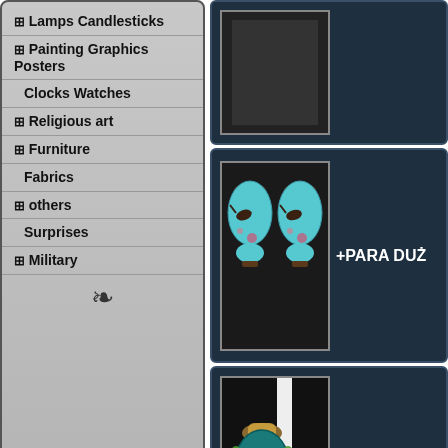⊞ Lamps Candlesticks
⊞ Painting Graphics Posters
Clocks Watches
⊞ Religious art
⊞ Furniture
Fabrics
⊞ others
Surprises
⊞ Military
HOME
About us
[Figure (photo): Product card top - partially visible item]
[Figure (photo): Pair of large turquoise cloisonne vases with birds and floral decoration]
+PARA DUŻ
[Figure (photo): Single cloisonne vase with ornate handles and turquoise decoration]
+WAZON cl